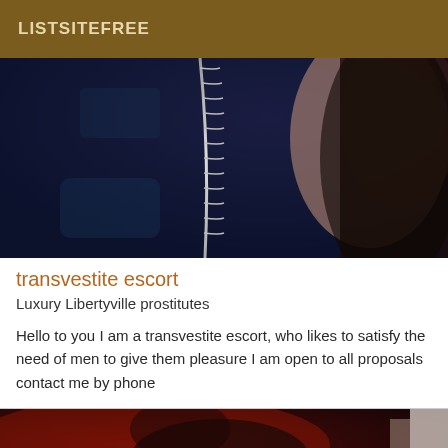LISTSITEFREE
[Figure (photo): Close-up photo of a person wearing a dark leather jacket with a silver zipper, with dark hair visible on the right side. Dark blue tones dominate the image.]
transvestite escort
Luxury Libertyville prostitutes
Hello to you I am a transvestite escort, who likes to satisfy the need of men to give them pleasure I am open to all proposals contact me by phone
[Figure (photo): Partial photo at the bottom showing a person in red lighting, dark tones with red and white visible at the right edge.]